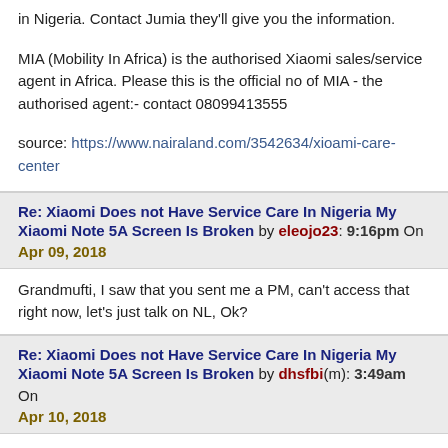in Nigeria. Contact Jumia they'll give you the information.

MIA (Mobility In Africa) is the authorised Xiaomi sales/service agent in Africa. Please this is the official no of MIA - the authorised agent:- contact 08099413555

source: https://www.nairaland.com/3542634/xioami-care-center
Re: Xiaomi Does not Have Service Care In Nigeria My Xiaomi Note 5A Screen Is Broken by eleojo23: 9:16pm On Apr 09, 2018
Grandmufti, I saw that you sent me a PM, can't access that right now, let's just talk on NL, Ok?
Re: Xiaomi Does not Have Service Care In Nigeria My Xiaomi Note 5A Screen Is Broken by dhsfbi(m): 3:49am On Apr 10, 2018
Lol, these Tecno and infinix guys ehn.

They decided to settle for inferior products because